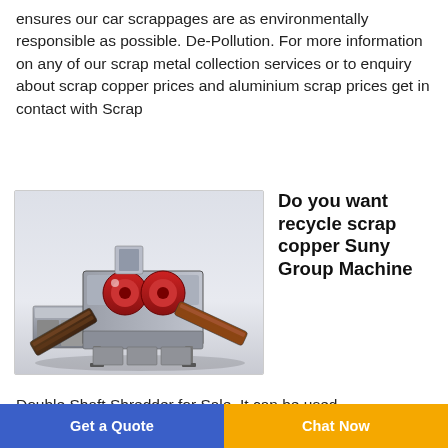ensures our car scrappages are as environmentally responsible as possible. De-Pollution. For more information on any of our scrap metal collection services or to enquiry about scrap copper prices and aluminium scrap prices get in contact with Scrap
[Figure (photo): Industrial double shaft shredder machine — a large grey metal processing machine with red rollers and conveyor belts, shown on a white/grey background.]
Do you want recycle scrap copper Suny Group Machine
Double Shaft Shredder for Sale. It can be used